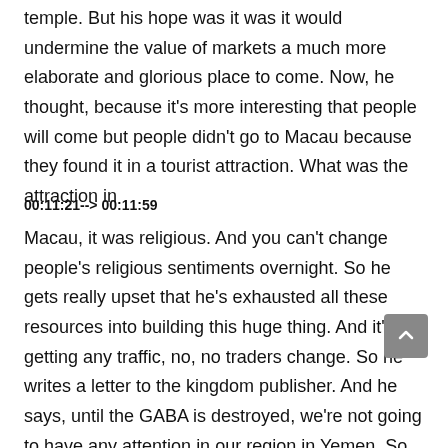temple. But his hope was it was it would undermine the value of markets a much more elaborate and glorious place to come. Now, he thought, because it's more interesting that people will come but people didn't go to Macau because they found it in a tourist attraction. What was the attraction in
00:11:21--> 00:11:59
Macau, it was religious. And you can't change people's religious sentiments overnight. So he gets really upset that he's exhausted all these resources into building this huge thing. And it's not getting any traffic, no, no traders change. So he writes a letter to the kingdom publisher. And he says, until the GABA is destroyed, we're not going to have any attention in our region in Yemen. So you need to help us now when he writes this letter, the Arabs get word of it. The Arabs hear about it. And when they hear about it, what do they do? They